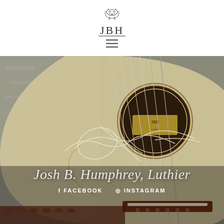[Figure (logo): JBH logo with decorative lion/animal illustration above the letters JBH]
[Figure (other): Hamburger menu icon (three horizontal lines)]
[Figure (photo): Close-up photograph of an acoustic guitar showing the soundhole, spruce top, strings, and bridge, with a signature/flourish overlay in white lines]
Josh B. Humphrey, Luthier
f FACEBOOK  ⊙ INSTAGRAM